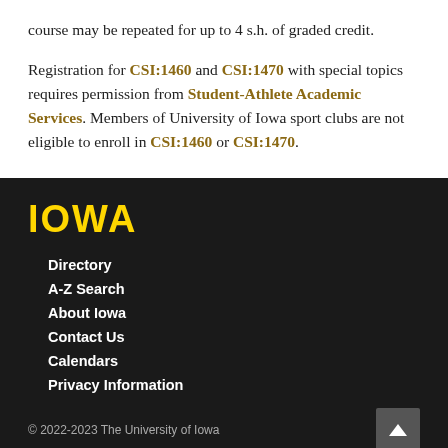course may be repeated for up to 4 s.h. of graded credit.
Registration for CSI:1460 and CSI:1470 with special topics requires permission from Student-Athlete Academic Services. Members of University of Iowa sport clubs are not eligible to enroll in CSI:1460 or CSI:1470.
[Figure (logo): University of Iowa IOWA wordmark logo in yellow/gold on black background]
Directory
A-Z Search
About Iowa
Contact Us
Calendars
Privacy Information
© 2022-2023 The University of Iowa